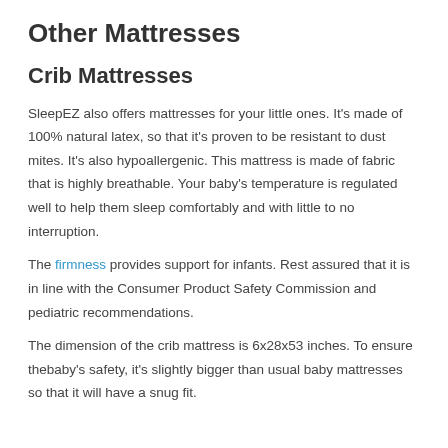Other Mattresses
Crib Mattresses
SleepEZ also offers mattresses for your little ones. It's made of 100% natural latex, so that it's proven to be resistant to dust mites. It's also hypoallergenic. This mattress is made of fabric that is highly breathable. Your baby's temperature is regulated well to help them sleep comfortably and with little to no interruption.
The firmness provides support for infants. Rest assured that it is in line with the Consumer Product Safety Commission and pediatric recommendations.
The dimension of the crib mattress is 6x28x53 inches. To ensure thebaby's safety, it's slightly bigger than usual baby mattresses so that it will have a snug fit.